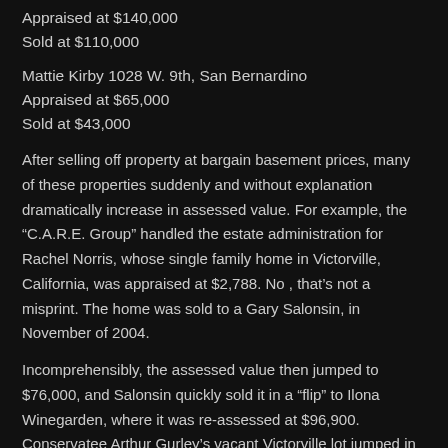Appraised at $140,000
Sold at $110,000
Mattie Kirby 1028 W. 9th, San Bernardino
Appraised at $65,000
Sold at $43,000
After selling off property at bargain basement prices, many of these properties suddenly and without explanation dramatically increase in assessed value. For example, the “C.A.R.E. Group” handled the estate administration for Rachel Norris, whose single family home in Victorville, California, was appraised at $2,788. No , that’s not a misprint. The home was sold to a Gary Salonsin, in November of 2004.
Incomprehensibly, the assessed value then jumped to $76,000, and Salonsin quickly sold it in a “flip” to Ilona Winegarden, where it was re-assessed at $96,900. Conservatee Arthur Gurley’s vacant Victorville lot jumped in assessed value from $7,273 to $44,880 when it passed into the hands of Eagle Assets & Management LLC in 2005, and his Victorville cabin also skyrocketed in value from $8,312 to